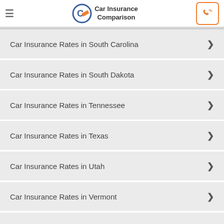Car Insurance Comparison
Car Insurance Rates in South Carolina
Car Insurance Rates in South Dakota
Car Insurance Rates in Tennessee
Car Insurance Rates in Texas
Car Insurance Rates in Utah
Car Insurance Rates in Vermont